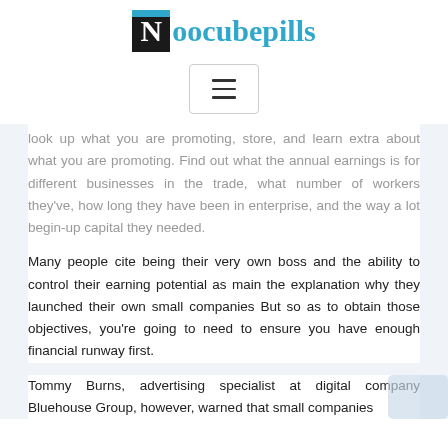[Figure (logo): Noocubepills website logo with black box containing white N letter and cyan/teal colored text 'oocubepills']
[Figure (other): Hamburger menu button icon with three horizontal lines inside a rounded rectangle border]
look up what you are promoting, store, and learn extra about what you are promoting. Find out what the annual earnings is for different businesses in the trade, what number of workers they've, how long they have been in enterprise, and the way a lot begin-up capital they needed.
Many people cite being their very own boss and the ability to control their earning potential as main the explanation why they launched their own small companies But so as to obtain those objectives, you're going to need to ensure you have enough financial runway first.
Tommy Burns, advertising specialist at digital company Bluehouse Group, however, warned that small companies